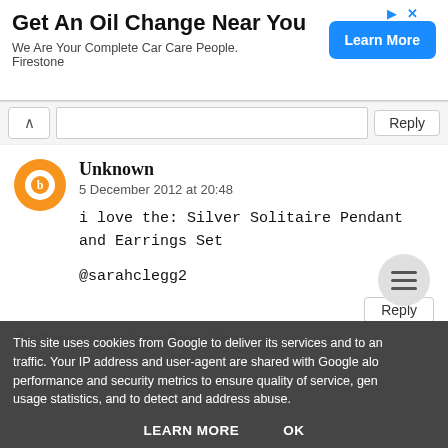[Figure (infographic): Advertisement banner for Firestone oil change service with 'Learn More' button]
Get An Oil Change Near You
We Are Your Complete Car Care People. Firestone
Reply
Unknown
5 December 2012 at 20:48
i love the: Silver Solitaire Pendant and Earrings Set
@sarahclegg2
Reply
This site uses cookies from Google to deliver its services and to analyze traffic. Your IP address and user-agent are shared with Google along with performance and security metrics to ensure quality of service, generate usage statistics, and to detect and address abuse.
LEARN MORE    OK
The Thomas Sabo Garnet Flower Ring is so